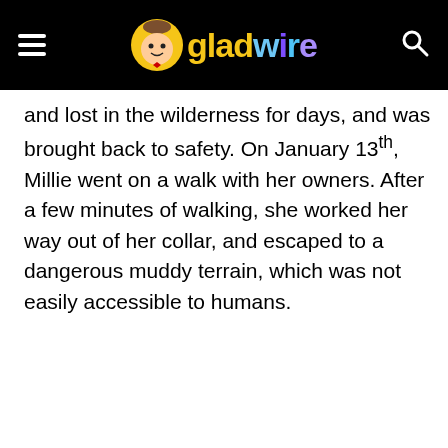gladwire
and lost in the wilderness for days, and was brought back to safety. On January 13th, Millie went on a walk with her owners. After a few minutes of walking, she worked her way out of her collar, and escaped to a dangerous muddy terrain, which was not easily accessible to humans.